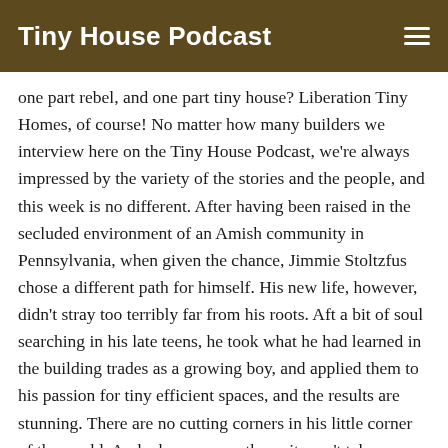Tiny House Podcast
one part rebel, and one part tiny house? Liberation Tiny Homes, of course! No matter how many builders we interview here on the Tiny House Podcast, we're always impressed by the variety of the stories and the people, and this week is no different. After having been raised in the secluded environment of an Amish community in Pennsylvania, when given the chance, Jimmie Stoltzfus chose a different path for himself. His new life, however, didn't stray too terribly far from his roots. Aft a bit of soul searching in his late teens, he took what he had learned in the building trades as a growing boy, and applied them to his passion for tiny efficient spaces, and the results are stunning. There are no cutting corners in his little corner of the world. And when you see them, it won't take you long to notice that Jimmie takes his work and his designs very seriously; and it shows in every tiny, perfectly plumb, perfectly square, aspect of his houses on wheels. You don't have to be religious to appreciate the conviction in these inspired homes, but